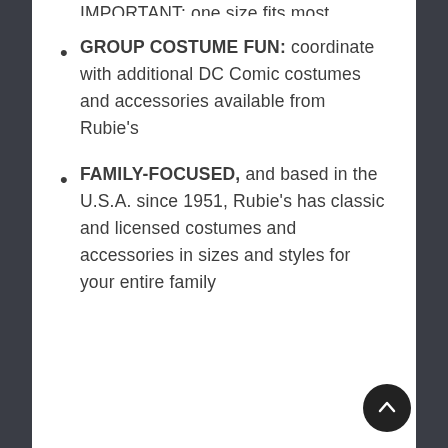IMPORTANT: one size fits most children
GROUP COSTUME FUN: coordinate with additional DC Comic costumes and accessories available from Rubie's
FAMILY-FOCUSED, and based in the U.S.A. since 1951, Rubie's has classic and licensed costumes and accessories in sizes and styles for your entire family